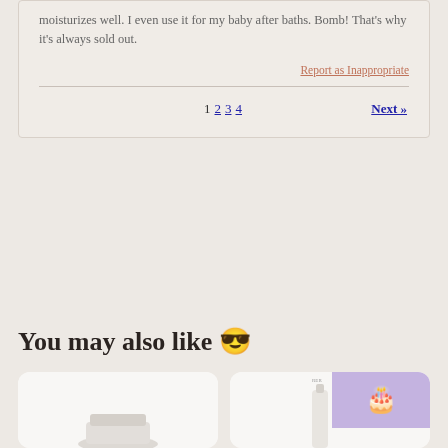moisturizes well. I even use it for my baby after baths. Bomb! That's why it's always sold out.
Report as Inappropriate
1 2 3 4  Next »
You may also like 😎
[Figure (photo): Product card showing a jar/cream product on white background]
[Figure (photo): Product card showing a bottle spray with a purple square and cupcake icon in top right corner]